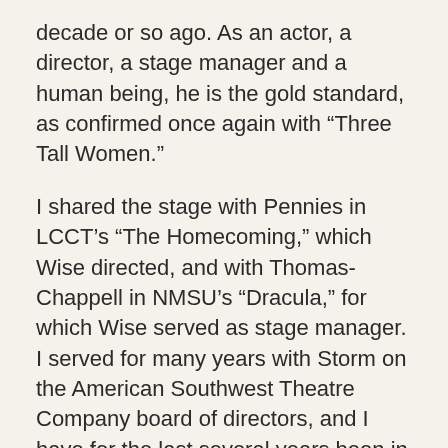decade or so ago. As an actor, a director, a stage manager and a human being, he is the gold standard, as confirmed once again with “Three Tall Women.”
I shared the stage with Pennies in LCCT's “The Homecoming,” which Wise directed, and with Thomas-Chappell in NMSU's “Dracula,” for which Wise served as stage manager. I served for many years with Storm on the American Southwest Theatre Company board of directors, and I have for the last several years been in awe of the work Sanchez has done both on stage – I loved him in “Biloxi Blues,” which Wise directed for LCCT – and as the co-founder of Blank Conversations Theatre Company.